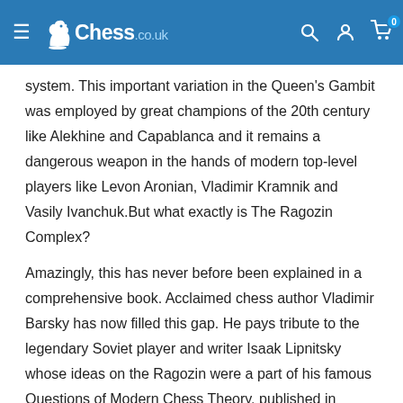Chess.co.uk
system. This important variation in the Queen's Gambit was employed by great champions of the 20th century like Alekhine and Capablanca and it remains a dangerous weapon in the hands of modern top-level players like Levon Aronian, Vladimir Kramnik and Vasily Ivanchuk.But what exactly is The Ragozin Complex?
Amazingly, this has never before been explained in a comprehensive book. Acclaimed chess author Vladimir Barsky has now filled this gap. He pays tribute to the legendary Soviet player and writer Isaak Lipnitsky whose ideas on the Ragozin were a part of his famous Questions of Modern Chess Theory, published in 1956.While many of Lipnitsky's ideas are still of value today, The Ragozin Complex sizzles with fresh and topical